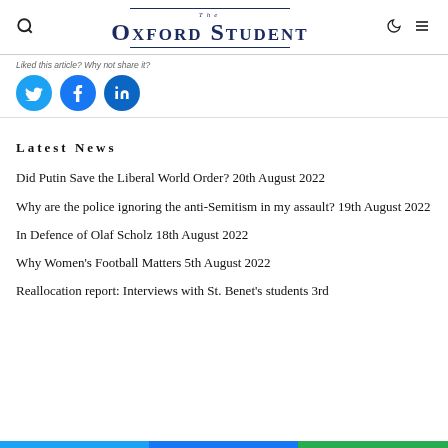The Oxford Student
Liked this article? Why not share it?
Latest News
Did Putin Save the Liberal World Order? 20th August 2022
Why are the police ignoring the anti-Semitism in my assault? 19th August 2022
In Defence of Olaf Scholz 18th August 2022
Why Women's Football Matters 5th August 2022
Reallocation report: Interviews with St. Benet's students 3rd